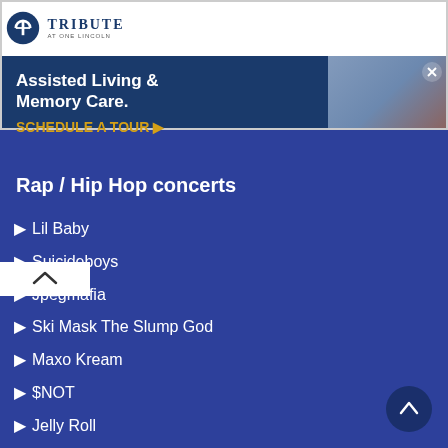[Figure (other): Advertisement banner for Tribute Assisted Living & Memory Care with 'SCHEDULE A TOUR' call to action]
Rap / Hip Hop concerts
Lil Baby
Suicideboys
Jpegmafia
Ski Mask The Slump God
Maxo Kream
$NOT
Jelly Roll
Pitbull
Post Malone
Roddy Ricch
Kendrick Lamar
Baby Keem